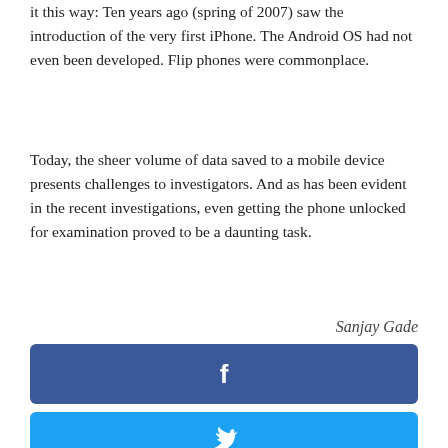it this way: Ten years ago (spring of 2007) saw the introduction of the very first iPhone. The Android OS had not even been developed. Flip phones were commonplace.
Today, the sheer volume of data saved to a mobile device presents challenges to investigators. And as has been evident in the recent investigations, even getting the phone unlocked for examination proved to be a daunting task.
Sanjay Gade
[Figure (other): Facebook share button (blue)]
[Figure (other): Twitter share button (blue)]
[Figure (other): Google+ share button (red-orange)]
[Figure (other): Pinterest share button (red)]